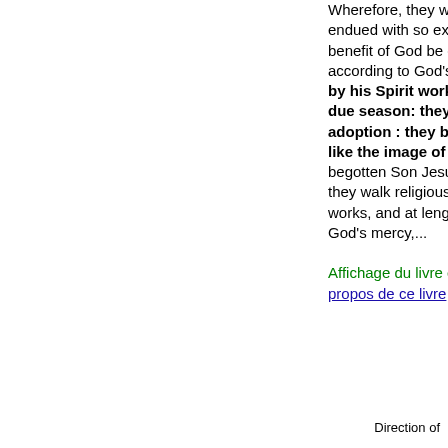Wherefore, they which be endued with so excellent a benefit of God be called according to God's purpose by his Spirit working in due season: they...God by adoption : they be made like the image of his only-begotten Son Jesus Christ : they walk religiously in good works, and at length, by God's mercy,...
Affichage du livre entier - À propos de ce livre
Direction of...